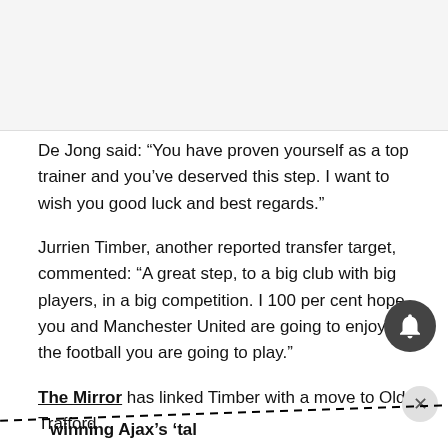De Jong said: “You have proven yourself as a top trainer and you’ve deserved this step. I want to wish you good luck and best regards.”
Jurrien Timber, another reported transfer target, commented: “A great step, to a big club with big players, in a big competition. I 100 per cent hope you and Manchester United are going to enjoy the football you are going to play.”
The Mirror has linked Timber with a move to Old Trafford
back winning Ajax’s ‘tal